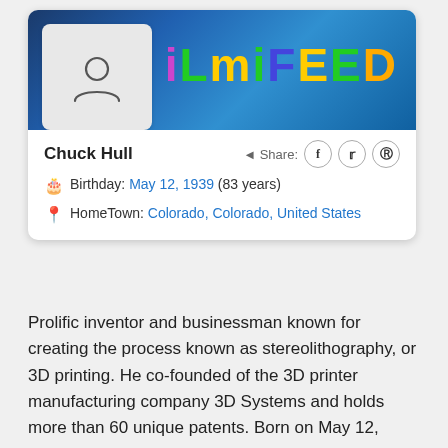[Figure (photo): FilmiFeed profile card banner with colorful FILMIFEED text on blue background and a person placeholder icon]
Chuck Hull
Birthday: May 12, 1939 (83 years)
HomeTown: Colorado, Colorado, United States
Prolific inventor and businessman known for creating the process known as stereolithography, or 3D printing. He co-founded of the 3D printer manufacturing company 3D Systems and holds more than 60 unique patents. Born on May 12, 1939, Chuck Hull hails from Colorado, United